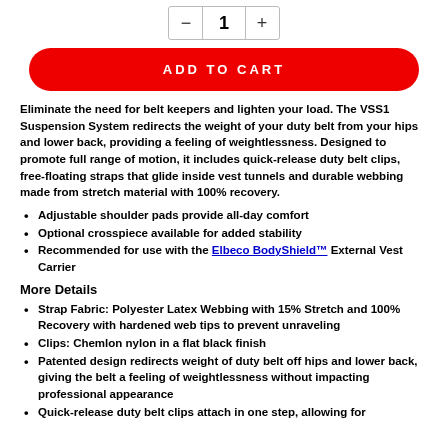[Figure (other): Quantity selector with minus button, value 1, and plus button]
[Figure (other): Red rounded ADD TO CART button]
Eliminate the need for belt keepers and lighten your load. The VSS1 Suspension System redirects the weight of your duty belt from your hips and lower back, providing a feeling of weightlessness. Designed to promote full range of motion, it includes quick-release duty belt clips, free-floating straps that glide inside vest tunnels and durable webbing made from stretch material with 100% recovery.
Adjustable shoulder pads provide all-day comfort
Optional crosspiece available for added stability
Recommended for use with the Elbeco BodyShield™ External Vest Carrier
More Details
Strap Fabric: Polyester Latex Webbing with 15% Stretch and 100% Recovery with hardened web tips to prevent unraveling
Clips: Chemlon nylon in a flat black finish
Patented design redirects weight of duty belt off hips and lower back, giving the belt a feeling of weightlessness without impacting professional appearance
Quick-release duty belt clips attach in one step, allowing for